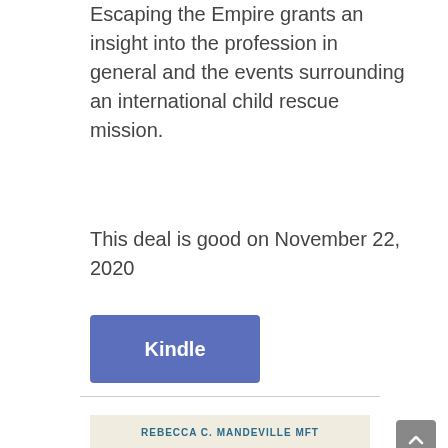Escaping the Empire grants an insight into the profession in general and the events surrounding an international child rescue mission.
This deal is good on November 22, 2020
[Figure (other): Blue button labeled 'Kindle']
[Figure (other): Book cover with author 'REBECCA C. MANDEVILLE MFT' and title 'REJECTED' on a cream/beige background]